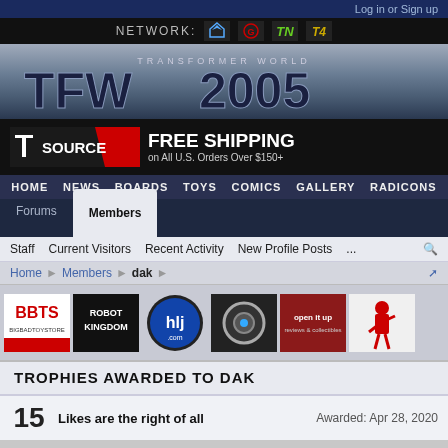Log in or Sign up
NETWORK:
[Figure (logo): TFW2005 Transformer World logo banner]
[Figure (illustration): TFSource FREE SHIPPING on All U.S. Orders Over $150+ advertisement banner]
HOME  NEWS  BOARDS  TOYS  COMICS  GALLERY  RADICONS
Forums
Members
Staff   Current Visitors   Recent Activity   New Profile Posts   ...
Home > Members > dak
[Figure (logo): Sponsor logos: BBTS BigBadToyStore, Robot Kingdom, hlj.com, camera accessory store, open it up, red ninja figure]
TROPHIES AWARDED TO DAK
15   Likes are the right of all   Awarded: Apr 28, 2020